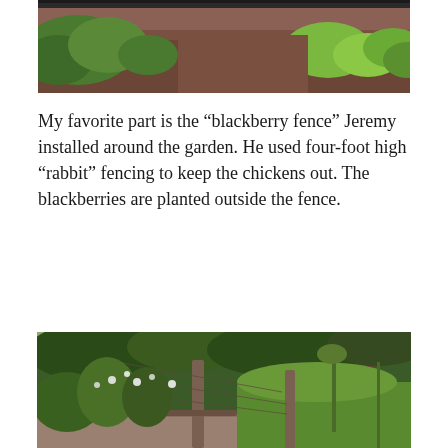[Figure (photo): Top portion of a vegetable garden with raised beds showing green plant leaves and mulched soil, partially cropped.]
My favorite part is the “blackberry fence” Jeremy installed around the garden. He used four-foot high “rabbit” fencing to keep the chickens out. The blackberries are planted outside the fence.
[Figure (photo): A garden area with a wooden post and wire rabbit fencing surrounded by lush green plants including blackberries and other vegetation, with gravel path and lawn visible.]